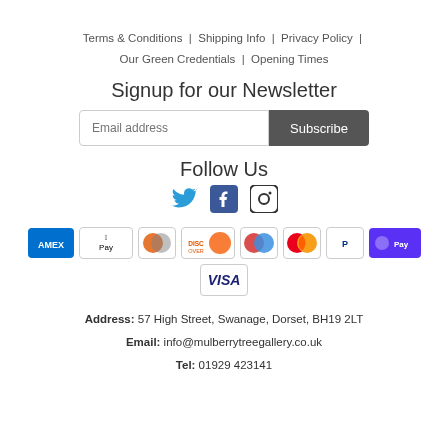Terms & Conditions  |  Shipping Info  |  Privacy Policy  |  Our Green Credentials  |  Opening Times
Signup for our Newsletter
Email address  Subscribe
Follow Us
[Figure (infographic): Social media icons: Twitter, Facebook, Instagram]
[Figure (infographic): Payment method icons: AMEX, Apple Pay, Diners Club, Discover, Maestro, Mastercard, PayPal, ShopPay, Visa]
Address: 57 High Street, Swanage, Dorset, BH19 2LT
Email: info@mulberrytreegallery.co.uk
Tel: 01929 423141